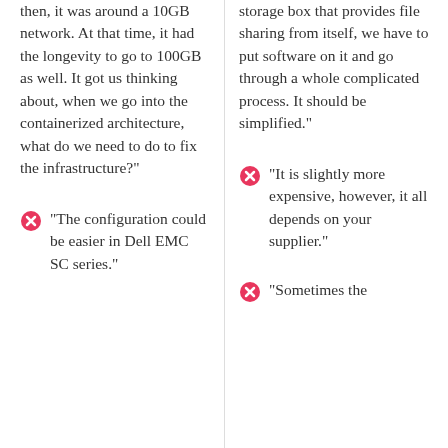then, it was around a 10GB network. At that time, it had the longevity to go to 100GB as well. It got us thinking about, when we go into the containerized architecture, what do we need to do to fix the infrastructure?"
"The configuration could be easier in Dell EMC SC series."
storage box that provides file sharing from itself, we have to put software on it and go through a whole complicated process. It should be simplified."
"It is slightly more expensive, however, it all depends on your supplier."
"Sometimes the